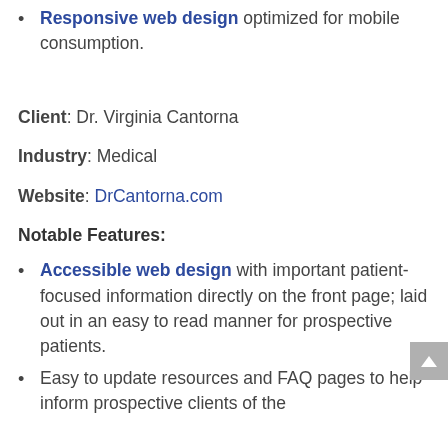Responsive web design optimized for mobile consumption.
Client: Dr. Virginia Cantorna
Industry: Medical
Website: DrCantorna.com
Notable Features:
Accessible web design with important patient-focused information directly on the front page; laid out in an easy to read manner for prospective patients.
Easy to update resources and FAQ pages to help inform prospective clients of the